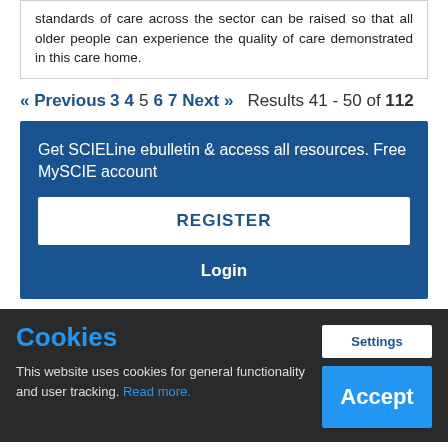standards of care across the sector can be raised so that all older people can experience the quality of care demonstrated in this care home.
« Previous  3  4  5  6  7  Next »     Results 41 - 50 of 112
Get SCIELine ebulletin & access all resources. Free MySCIE account
REGISTER
Login
Cookies
This website uses cookies for general functionality and user tracking. Read more.
Settings
Accept